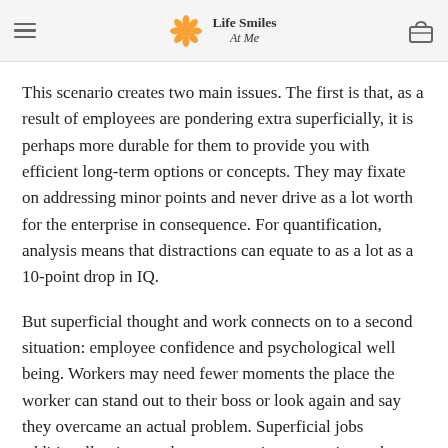Life Smiles At Me
This scenario creates two main issues. The first is that, as a result of employees are pondering extra superficially, it is perhaps more durable for them to provide you with efficient long-term options or concepts. They may fixate on addressing minor points and never drive as a lot worth for the enterprise in consequence. For quantification, analysis means that distractions can equate to as a lot as a 10-point drop in IQ.
But superficial thought and work connects on to a second situation: employee confidence and psychological well being. Workers may need fewer moments the place the worker can stand out to their boss or look again and say they overcame an actual problem. Superficial jobs additionally give employees extra time to ruminate about what may not be so